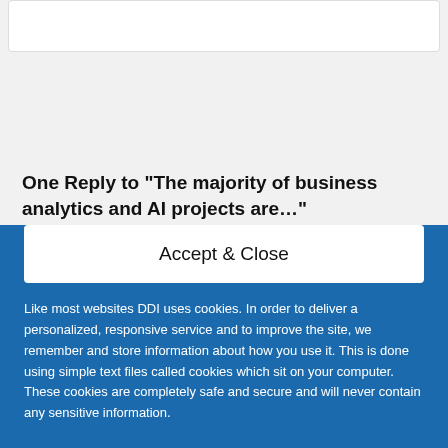One Reply to “The majority of business analytics and AI projects are…”
Chris Mann Says:
May 3, 2020 at 12:53 pm
Accept & Close
Like most websites DDI uses cookies. In order to deliver a personalized, responsive service and to improve the site, we remember and store information about how you use it. This is done using simple text files called cookies which sit on your computer. These cookies are completely safe and secure and will never contain any sensitive information.